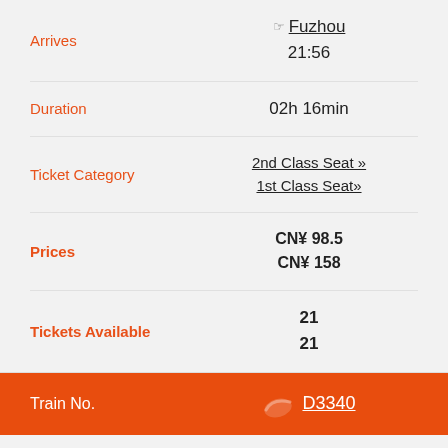Arrives
Fuzhou
21:56
Duration
02h 16min
Ticket Category
2nd Class Seat »
1st Class Seat»
Prices
CN¥ 98.5
CN¥ 158
Tickets Available
21
21
Train No.
D3340
Departs
Xiamen North
19:53